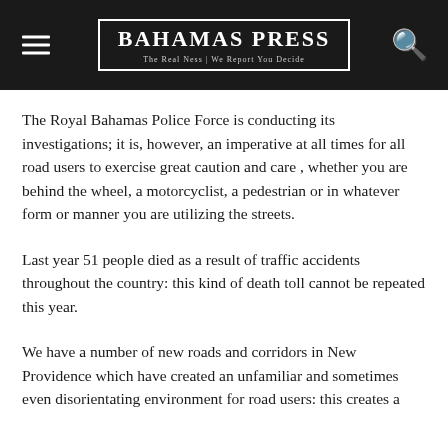Bahamas Press — The Real News | We Report You Decide
The Royal Bahamas Police Force is conducting its investigations; it is, however, an imperative at all times for all road users to exercise great caution and care , whether you are behind the wheel, a motorcyclist, a pedestrian or in whatever form or manner you are utilizing the streets.
Last year 51 people died as a result of traffic accidents throughout the country: this kind of death toll cannot be repeated this year.
We have a number of new roads and corridors in New Providence which have created an unfamiliar and sometimes even disorientating environment for road users: this creates a